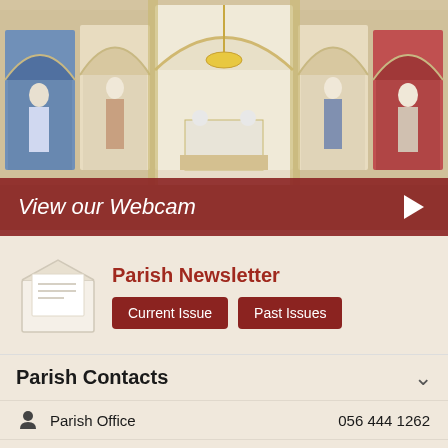[Figure (photo): Interior of a Catholic church showing ornate altar with Gothic-style arched niches containing statues of saints, decorative paintings, and floral arrangements on the altar]
View our Webcam
Parish Newsletter
Current Issue
Past Issues
Parish Contacts
Parish Office   056 444 1262
Rt. Rev. Mgr. Michael   056 444 1262